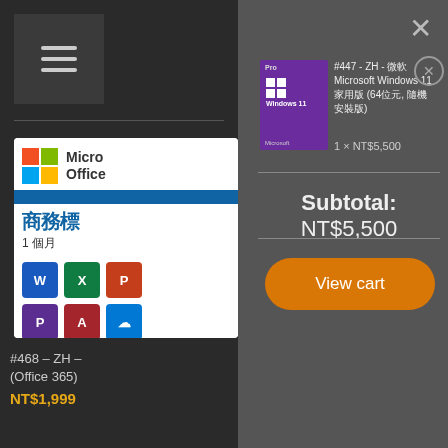[Figure (screenshot): Hamburger menu icon (three horizontal lines) on dark background]
[Figure (screenshot): Microsoft Office product card showing logo, '商務標' text, '1 個月' text, and app icons for Word, Excel, PowerPoint, Publisher, Access, OneDrive]
#468 – ZH – (Office 365)
NT$1,999
[Figure (screenshot): Windows 11 Pro product box image (purple box)]
#447 - ZH - 微軟Microsoft Windows 11 家用版 (64位元, 隨機安裝版)
1 × NT$5,500
Subtotal: NT$5,500
View cart